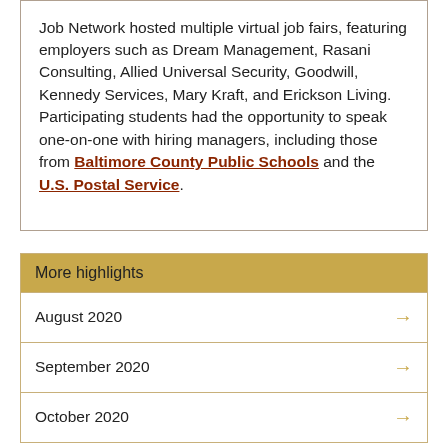Job Network hosted multiple virtual job fairs, featuring employers such as Dream Management, Rasani Consulting, Allied Universal Security, Goodwill, Kennedy Services, Mary Kraft, and Erickson Living. Participating students had the opportunity to speak one-on-one with hiring managers, including those from Baltimore County Public Schools and the U.S. Postal Service.
More highlights
August 2020
September 2020
October 2020
In this report
Overview